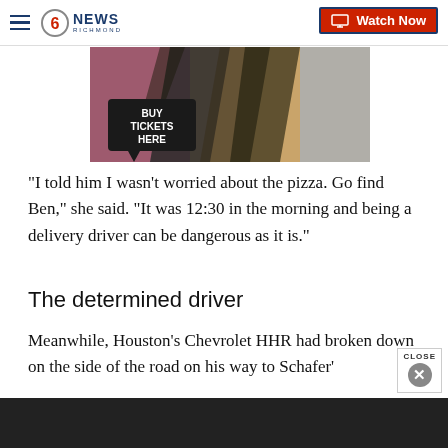CBS 6 NEWS RICHMOND — Watch Now
[Figure (photo): Advertisement banner image showing abstract colorful design with 'BUY TICKETS HERE' text overlay on dark speech bubble]
“I told him I wasn’t worried about the pizza. Go find Ben,” she said. “It was 12:30 in the morning and being a delivery driver can be dangerous as it is.”
The determined driver
Meanwhile, Houston’s Chevrolet HHR had broken down on the side of the road on his way to Schafer’s